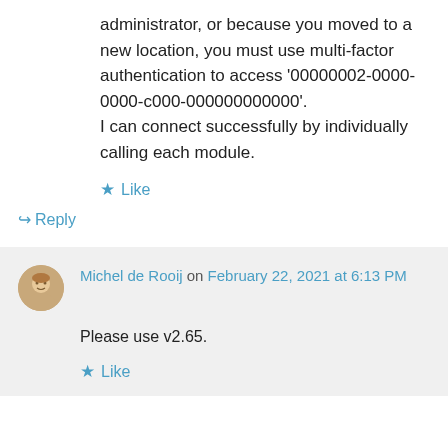administrator, or because you moved to a new location, you must use multi-factor authentication to access '00000002-0000-0000-c000-000000000000'. I can connect successfully by individually calling each module.
★ Like
↳ Reply
Michel de Rooij on February 22, 2021 at 6:13 PM
Please use v2.65.
★ Like